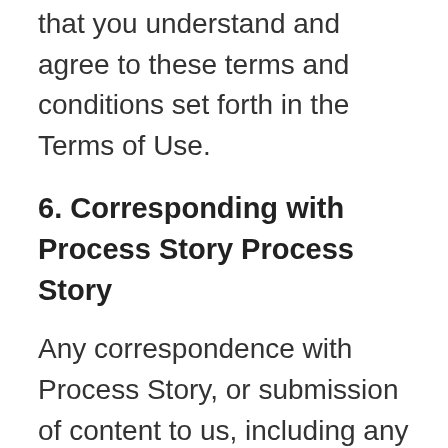that you understand and agree to these terms and conditions set forth in the Terms of Use.
6. Corresponding with Process Story Process Story
Any correspondence with Process Story, or submission of content to us, including any documentation or images, is considered the property of Process Story. Process Story reserves the right to reproduce such content, in whole or in part, on any of Process Story or its